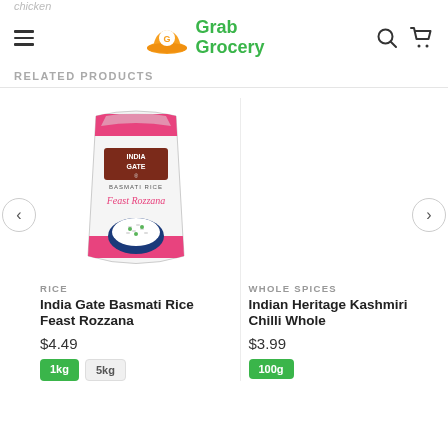Grab Grocery
RELATED PRODUCTS
[Figure (photo): India Gate Basmati Rice Feast Rozzana product bag — white bag with pink stripes and an image of rice dish]
RICE
India Gate Basmati Rice Feast Rozzana
$4.49
1kg  5kg
WHOLE SPICES
Indian Heritage Kashmiri Chilli Whole
$3.99
100g